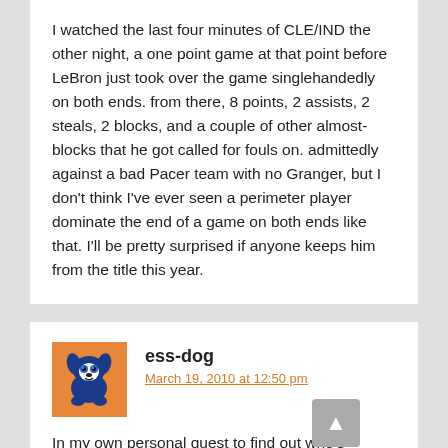I watched the last four minutes of CLE/IND the other night, a one point game at that point before LeBron just took over the game singlehandedly on both ends. from there, 8 points, 2 assists, 2 steals, 2 blocks, and a couple of other almost-blocks that he got called for fouls on. admittedly against a bad Pacer team with no Granger, but I don't think I've ever seen a perimeter player dominate the end of a game on both ends like that. I'll be pretty surprised if anyone keeps him from the title this year.
ess-dog
March 19, 2010 at 12:50 pm
[Figure (illustration): Orange square avatar with a cartoon blue dog illustration]
In my own personal quest to find out who's